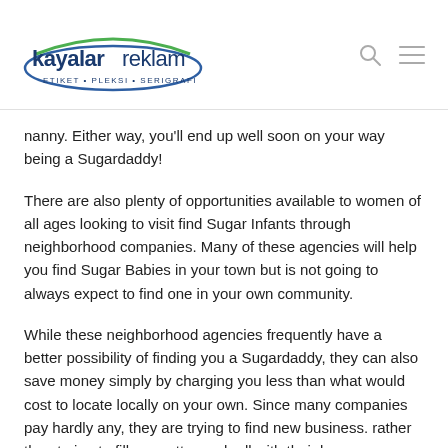kayalar reklam ETIKET · PLEKSI · SERIGRAFI
nanny. Either way, you'll end up well soon on your way being a Sugardaddy!
There are also plenty of opportunities available to women of all ages looking to visit find Sugar Infants through neighborhood companies. Many of these agencies will help you find Sugar Babies in your town but is not going to always expect to find one in your own community.
While these neighborhood agencies frequently have a better possibility of finding you a Sugardaddy, they can also save money simply by charging you less than what would cost to locate locally on your own. Since many companies pay hardly any, they are trying to find new business. rather than trying to fill up pretty much all with their boxes.
Don't let the price tag on the company stop you from going. The agency might be paying the firm for your travel around, but you can always try to look for a different agency when they really can't offer you the…